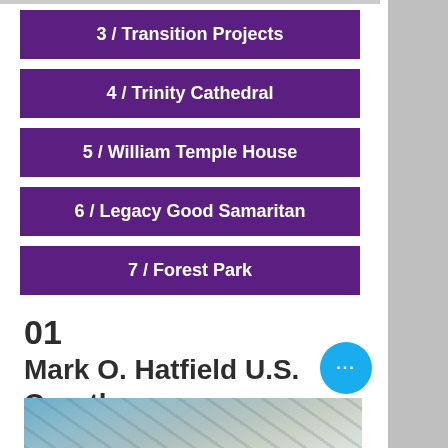3 / Transition Projects
4 / Trinity Cathedral
5 / William Temple House
6 / Legacy Good Samaritan
7 / Forest Park
01
Mark O. Hatfield U.S. Courthouse
[Figure (photo): Partial view of the Mark O. Hatfield U.S. Courthouse exterior]